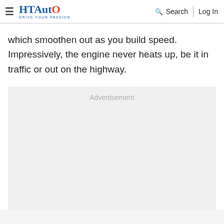HT Auto - Drive Your Passion | Search | Log In
which smoothen out as you build speed. Impressively, the engine never heats up, be it in traffic or out on the highway.
[Figure (other): Advertisement placeholder box with light gray background and 'Advertisement' label text centered at top]